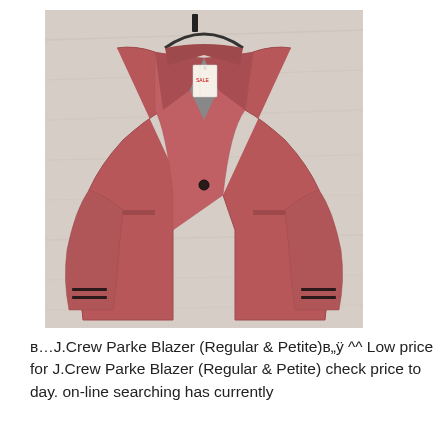[Figure (photo): A red/pink velvet blazer jacket on a hanger displayed against a light wood background. The blazer has a single button, notched lapels, welt pockets, and visible price tag.]
в...J.Crew Parke Blazer (Regular & Petite)в„ÿ ^^ Low price for J.Crew Parke Blazer (Regular & Petite) check price to day. on-line searching has currently